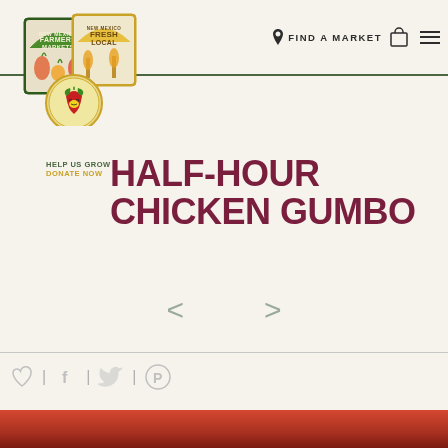FIND A MARKET
[Figure (logo): New Mexico Farmers Markets / New Mexico Fresh Local logos with strawberry emblem]
HELP US GROW
DONATE NOW
HALF-HOUR CHICKEN GUMBO
[Figure (other): Left and right navigation arrows]
[Figure (other): Social sharing icons: heart, Facebook, Twitter, Pinterest]
[Figure (photo): Food photo of chicken gumbo dish at bottom of page]